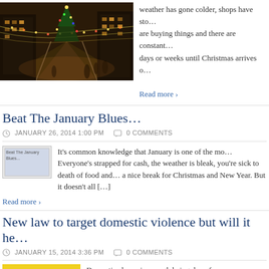[Figure (photo): Night street scene with Christmas lights strung overhead, shops lit up, people walking]
weather has gone colder, shops have sto… are buying things and there are constant… days or weeks until Christmas arrives o…
Read more ›
Beat The January Blues…
JANUARY 26, 2014 1:00 PM   0 COMMENTS
[Figure (illustration): Thumbnail image placeholder for Beat The January Blues article]
It's common knowledge that January is one of the mo… Everyone's strapped for cash, the weather is bleak, you're sick to death of food and… a nice break for Christmas and New Year. But it doesn't all […]
Read more ›
New law to target domestic violence but will it he…
JANUARY 15, 2014 3:36 PM   0 COMMENTS
[Figure (illustration): Yellow smiley face emoji with crossed eyes, partly visible at bottom]
Domestic abuse: is enough being done f…